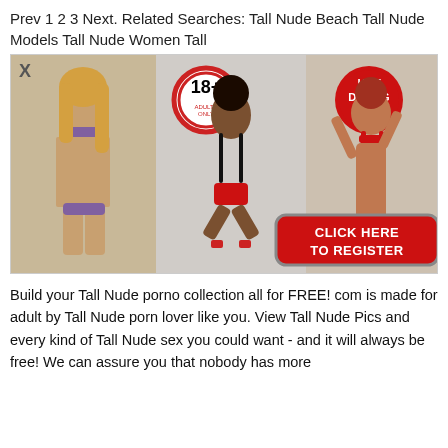Prev 1 2 3 Next. Related Searches: Tall Nude Beach Tall Nude Models Tall Nude Women Tall
[Figure (advertisement): Adult dating advertisement banner with three women figures, an 18+ badge, a HOT DATING HERE badge, and a red CLICK HERE TO REGISTER button. Close X button in top left corner.]
Build your Tall Nude porno collection all for FREE! com is made for adult by Tall Nude porn lover like you. View Tall Nude Pics and every kind of Tall Nude sex you could want - and it will always be free! We can assure you that nobody has more